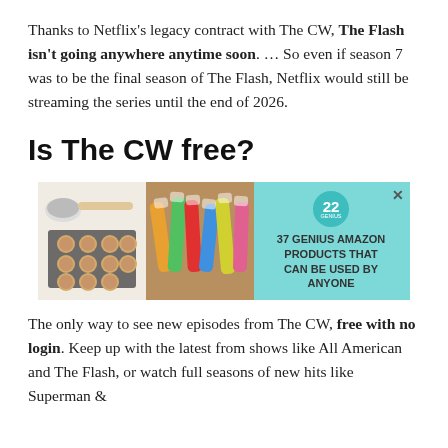Thanks to Netflix's legacy contract with The CW, The Flash isn't going anywhere anytime soon. … So even if season 7 was to be the final season of The Flash, Netflix would still be streaming the series until the end of 2026.
Is The CW free?
[Figure (infographic): Advertisement banner with teal background showing baked cookies on a tray on the left, lip balm products in the center, a teal circular badge with '22' and 'GENIUS' text, and headline '37 GENIUS AMAZON PRODUCTS THAT CAN BE USED BY ANYONE' on the right. An X close button is in the top right corner.]
The only way to see new episodes from The CW, free with no login. Keep up with the latest from shows like All American and The Flash, or watch full seasons of new hits like Superman &